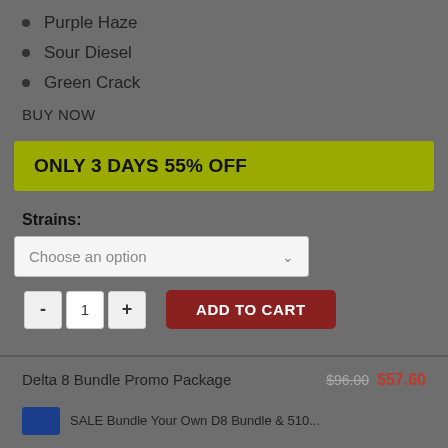Purple Haze
Sour Diesel
Green Crack
BUY NOW
ONLY 3 DAYS 55% OFF
Strains:
Choose an option
ADD TO CART
Delta 8 Bundle Promo Package $96.00 $57.60
SALE Bundle Your Own D8 Bundle & 510...